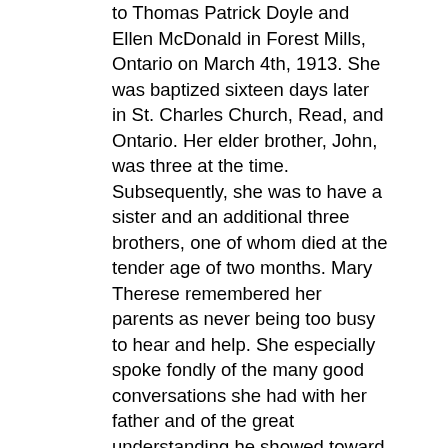to Thomas Patrick Doyle and Ellen McDonald in Forest Mills, Ontario on March 4th, 1913. She was baptized sixteen days later in St. Charles Church, Read, and Ontario. Her elder brother, John, was three at the time. Subsequently, she was to have a sister and an additional three brothers, one of whom died at the tender age of two months. Mary Therese remembered her parents as never being too busy to hear and help. She especially spoke fondly of the many good conversations she had with her father and of the great understanding he showed toward her in her childhood. She also recalled the great kindness shown to her by her brothers, John, Tom and Martin, and her sister, Monica.
Mary Gertrude was in the fifth month of her training to become a registered nurse at St. Vincent de Paul Hospital, Brockville, when she decided to enter religious life. She probably chose the Sisters of Providence because her aunt, Sister Mary Alda was